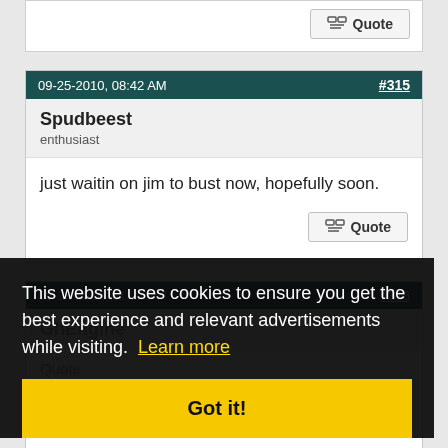Quote (top remnant button)
09-25-2010, 08:42 AM  #315
Spudbeest
enthusiast
just waitin on jim to bust now, hopefully soon.
Quote (button)
09-25-2010, 01:25 PM  #316
GhEngine (partially visible)
This website uses cookies to ensure you get the best experience and relevant advertisements while visiting.  Learn more
Got it!
Originally Posted by Spudbeest
just waitin on jim to bust now, hopefully soon.
That has to be the Gheyest post ive read in a while!!